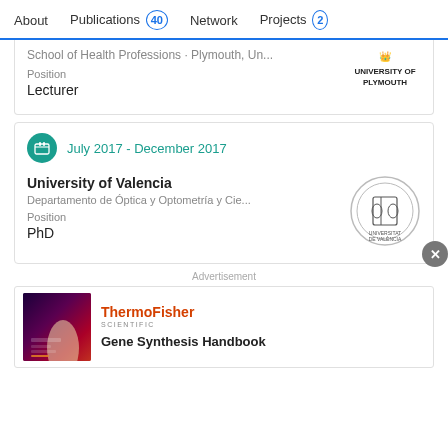About   Publications 40   Network   Projects 2
School of Health Professions · Plymouth, Un...
Position
Lecturer
[Figure (logo): University of Plymouth logo]
July 2017 - December 2017
University of Valencia
Departamento de Óptica y Optometría y Cie...
Position
PhD
[Figure (logo): University of Valencia seal/crest logo]
Advertisement
[Figure (photo): ThermoFisher Scientific advertisement image with woman in lab coat]
ThermoFisher SCIENTIFIC
Gene Synthesis Handbook